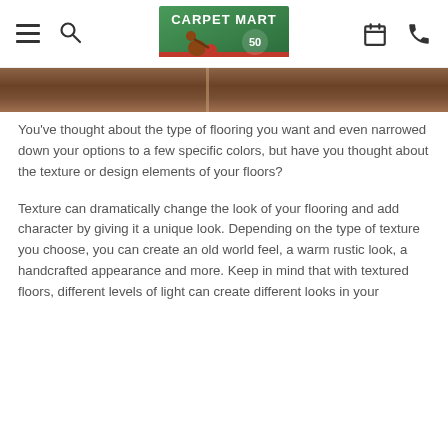Carpet Mart logo with hamburger menu, search, calendar, and phone icons
[Figure (photo): Partial view of wood flooring in dark brown tones, showing a seam between two boards.]
You've thought about the type of flooring you want and even narrowed down your options to a few specific colors, but have you thought about the texture or design elements of your floors?
Texture can dramatically change the look of your flooring and add character by giving it a unique look. Depending on the type of texture you choose, you can create an old world feel, a warm rustic look, a handcrafted appearance and more. Keep in mind that with textured floors, different levels of light can create different looks in your